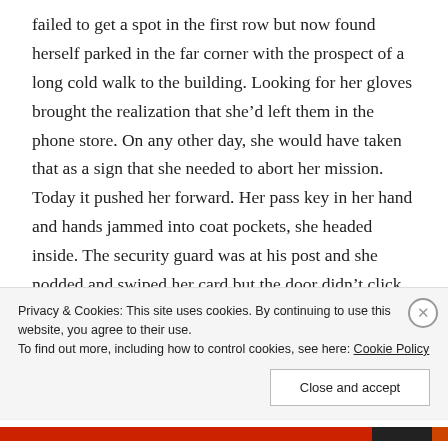failed to get a spot in the first row but now found herself parked in the far corner with the prospect of a long cold walk to the building. Looking for her gloves brought the realization that she'd left them in the phone store. On any other day, she would have taken that as a sign that she needed to abort her mission. Today it pushed her forward. Her pass key in her hand and hands jammed into coat pockets, she headed inside. The security guard was at his post and she nodded and swiped her card but the door didn't click open. She tried again. Lu felt the familiar tingle of panic and a tightening of her throat as
Privacy & Cookies: This site uses cookies. By continuing to use this website, you agree to their use.
To find out more, including how to control cookies, see here: Cookie Policy
Close and accept